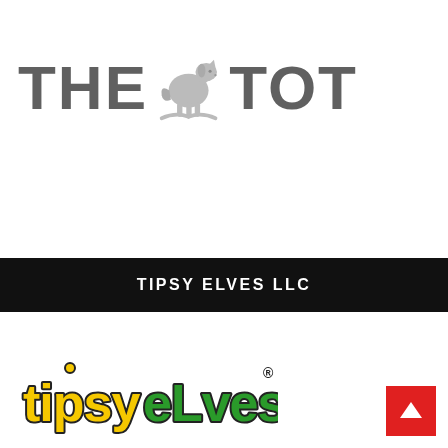[Figure (logo): The Tot logo: dark gray bold text 'THE' followed by a light gray rocking horse icon, then dark gray bold text 'TOT']
[Figure (logo): Black banner with white uppercase text 'TIPSY ELVES LLC']
[Figure (logo): Tipsy Elves logo: colorful text with yellow 'tipsy' and green 'eLves' with black outlined bubble letters and registered trademark symbol]
[Figure (other): Red square scroll-to-top button with white upward arrow]